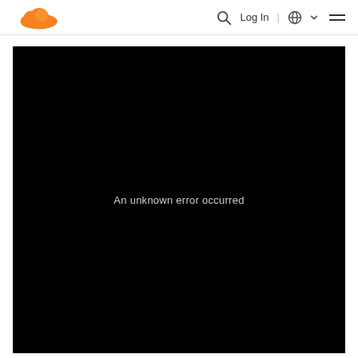Cloudflare navigation bar with logo, search, Log In, language selector, and hamburger menu
[Figure (screenshot): Black video player area showing error message 'An unknown error occurred' in light gray text on a black background]